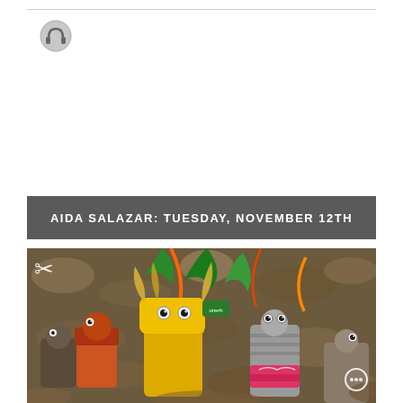[Figure (logo): Headphones icon in gray circle at top left]
AIDA SALAZAR: TUESDAY, NOVEMBER 12TH
[Figure (photo): Colorful finger puppets made from recycled materials arranged on a bed of autumn leaves, featuring googly eyes and decorative paper/fabric embellishments in yellow, green, orange, red colors. A scissors icon overlay appears at top left and a circle icon at bottom right.]